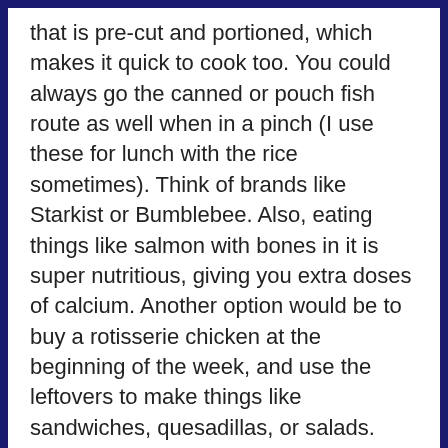that is pre-cut and portioned, which makes it quick to cook too. You could always go the canned or pouch fish route as well when in a pinch (I use these for lunch with the rice sometimes). Think of brands like Starkist or Bumblebee. Also, eating things like salmon with bones in it is super nutritious, giving you extra doses of calcium. Another option would be to buy a rotisserie chicken at the beginning of the week, and use the leftovers to make things like sandwiches, quesadillas, or salads.
My last tip will be to consider investing in some extra kitchen equipment to make your life easier. I use my Instant Pot (pressure cooker) and Crockpot (slow cooker) every week. The pressure cooker can make cooking